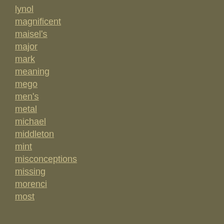lynol
magnificent
maisel's
major
mark
meaning
mego
men's
metal
michael
middleton
mint
misconceptions
missing
morenci
most